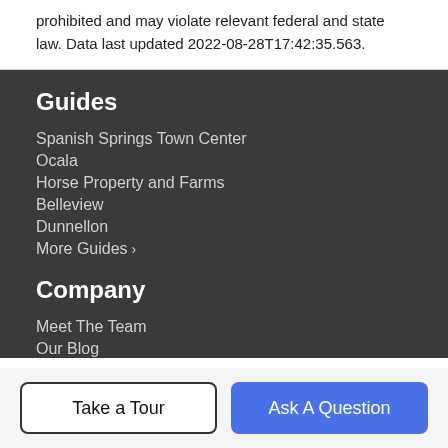prohibited and may violate relevant federal and state law. Data last updated 2022-08-28T17:42:35.563.
Guides
Spanish Springs Town Center
Ocala
Horse Property and Farms
Belleview
Dunnellon
More Guides >
Company
Meet The Team
Our Blog
Take a Tour
Ask A Question